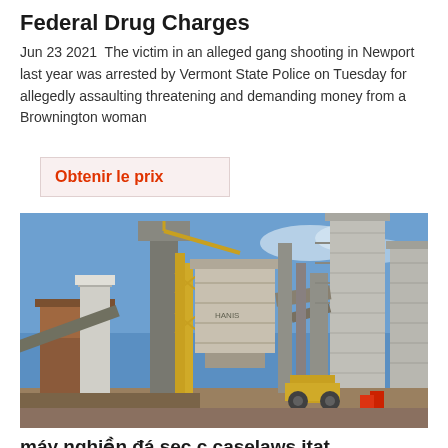Federal Drug Charges
Jun 23 2021  The victim in an alleged gang shooting in Newport last year was arrested by Vermont State Police on Tuesday for allegedly assaulting threatening and demanding money from a Brownington woman
Obtenir le prix
[Figure (photo): Industrial facility with metal silos, conveyor belts, and heavy machinery under a blue sky — appears to be a stone crushing or aggregate processing plant.]
máy nghiền đá sec c caselaws itat
sec 9c caselaws itat unite de ncassage de pierre. Sec 194c